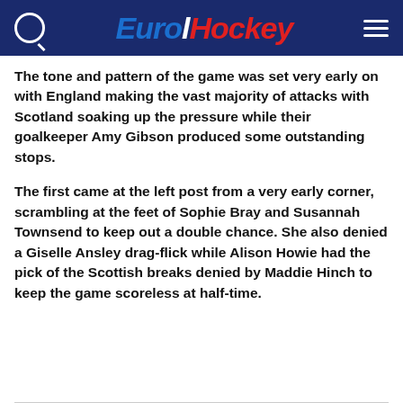EuroHockey
The tone and pattern of the game was set very early on with England making the vast majority of attacks with Scotland soaking up the pressure while their goalkeeper Amy Gibson produced some outstanding stops.
The first came at the left post from a very early corner, scrambling at the feet of Sophie Bray and Susannah Townsend to keep out a double chance. She also denied a Giselle Ansley drag-flick while Alison Howie had the pick of the Scottish breaks denied by Maddie Hinch to keep the game scoreless at half-time.